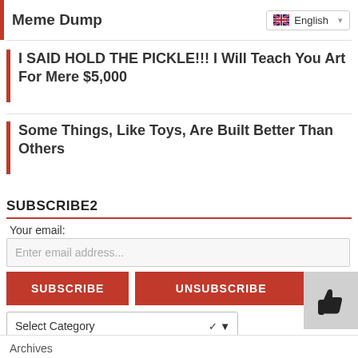Meme Dump
I SAID HOLD THE PICKLE!!! I Will Teach You Art For Mere $5,000
Some Things, Like Toys, Are Built Better Than Others
SUBSCRIBE2
Your email:
Enter email address...
SUBSCRIBE  UNSUBSCRIBE
Select Category
Archives